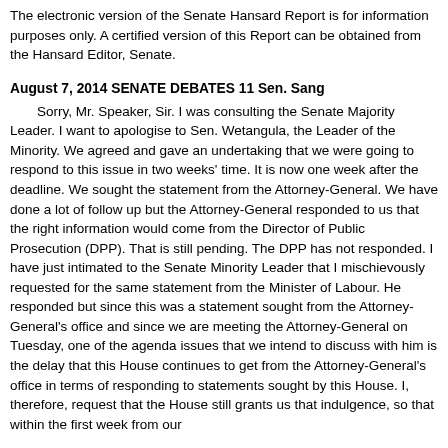The electronic version of the Senate Hansard Report is for information purposes only. A certified version of this Report can be obtained from the Hansard Editor, Senate.
August 7, 2014 SENATE DEBATES 11 Sen. Sang
Sorry, Mr. Speaker, Sir. I was consulting the Senate Majority Leader. I want to apologise to Sen. Wetangula, the Leader of the Minority. We agreed and gave an undertaking that we were going to respond to this issue in two weeks' time. It is now one week after the deadline. We sought the statement from the Attorney-General. We have done a lot of follow up but the Attorney-General responded to us that the right information would come from the Director of Public Prosecution (DPP). That is still pending. The DPP has not responded. I have just intimated to the Senate Minority Leader that I mischievously requested for the same statement from the Minister of Labour. He responded but since this was a statement sought from the Attorney-General's office and since we are meeting the Attorney-General on Tuesday, one of the agenda issues that we intend to discuss with him is the delay that this House continues to get from the Attorney-General's office in terms of responding to statements sought by this House. I, therefore, request that the House still grants us that indulgence, so that within the first week from our